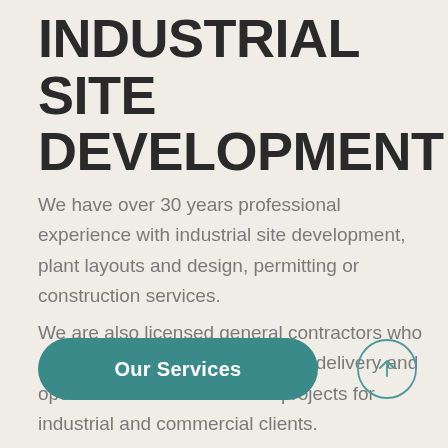INDUSTRIAL SITE DEVELOPMENT
We have over 30 years professional experience with industrial site development, plant layouts and design, permitting or construction services.
We are also licensed general contractors who are experienced with full turnkey delivery and operation of water treatment projects for industrial and commercial clients.
[Figure (other): Teal rounded rectangle button labeled 'Our Services']
[Figure (other): Circle button with upward arrow icon]